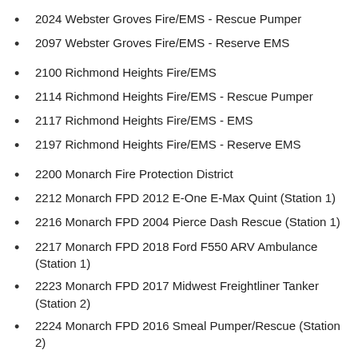2024 Webster Groves Fire/EMS - Rescue Pumper
2097 Webster Groves Fire/EMS - Reserve EMS
2100 Richmond Heights Fire/EMS
2114 Richmond Heights Fire/EMS - Rescue Pumper
2117 Richmond Heights Fire/EMS - EMS
2197 Richmond Heights Fire/EMS - Reserve EMS
2200 Monarch Fire Protection District
2212 Monarch FPD 2012 E-One E-Max Quint (Station 1)
2216 Monarch FPD 2004 Pierce Dash Rescue (Station 1)
2217 Monarch FPD 2018 Ford F550 ARV Ambulance (Station 1)
2223 Monarch FPD 2017 Midwest Freightliner Tanker (Station 2)
2224 Monarch FPD 2016 Smeal Pumper/Rescue (Station 2)